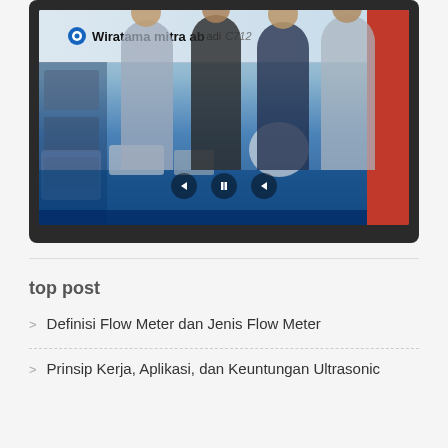[Figure (photo): Photo of four people (three men and one hijab-wearing woman) standing at the Wiratama Mitra Abadi exhibition booth (C712), surrounded by flow meter products and equipment on a blue display table.]
top post
Definisi Flow Meter dan Jenis Flow Meter
Prinsip Kerja, Aplikasi, dan Keuntungan Ultrasonic